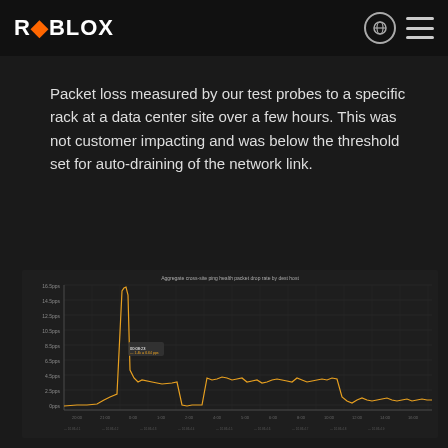ROBLOX
Packet loss measured by our test probes to a specific rack at a data center site over a few hours. This was not customer impacting and was below the threshold set for auto-draining of the network link.
[Figure (continuous-plot): Line chart titled 'Aggregate cross-site ping health packet drop rate by dest host' showing packet loss rate over time (approximately 20:00 to 16:00 next day). An orange/yellow line shows a sharp spike reaching ~16.5pps around 08:00, then settling to an elevated baseline of ~2-4pps for several hours before returning to near baseline. The x-axis shows time labels, y-axis shows packet drop rate in pps.]